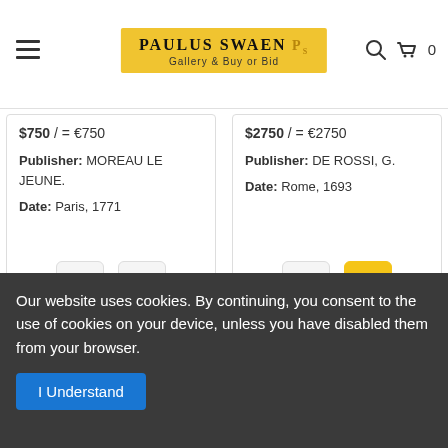Paulus Swaen Gallery & Buy or Bid — navigation header
$750 / = €750
Publisher: MOREAU LE JEUNE.
Date: Paris, 1771
$2750 / = €2750
Publisher: DE ROSSI, G.
Date: Rome, 1693
[Figure (illustration): Antique print showing figures in historical dress, with text 'VIAROTS' at top]
[Figure (illustration): Antique engraving of St. Peter's Basilica and Square in Rome, aerial view]
Our website uses cookies. By continuing, you consent to the use of cookies on your device, unless you have disabled them from your browser.